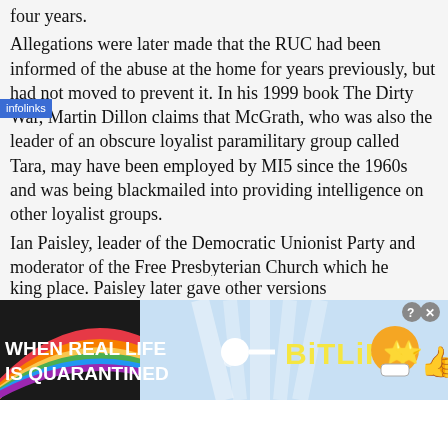four years. Allegations were later made that the RUC had been informed of the abuse at the home for years previously, but had not moved to prevent it. In his 1999 book The Dirty War, Martin Dillon claims that McGrath, who was also the leader of an obscure loyalist paramilitary group called Tara, may have been employed by MI5 since the 1960s and was being blackmailed into providing intelligence on other loyalist groups. Ian Paisley, leader of the Democratic Unionist Party and moderator of the Free Presbyterian Church which he founded in 1951, was accused of failing to report McGrath's abuse to the relevant authorities. He initially denied ever being advised by his informant, a church member, Valerie Shaw, that it king place. Paisley later gave other versions
[Figure (infographic): BitLife advertisement banner. Left side shows rainbow arc on dark background with text 'WHEN REAL LIFE IS QUARANTINED'. Center shows a sperm emoji/icon. Right side shows 'BitLiFE' in yellow bold text with emoji characters (star-eyes face and thumbs up with mask). Close button in top right corner.]